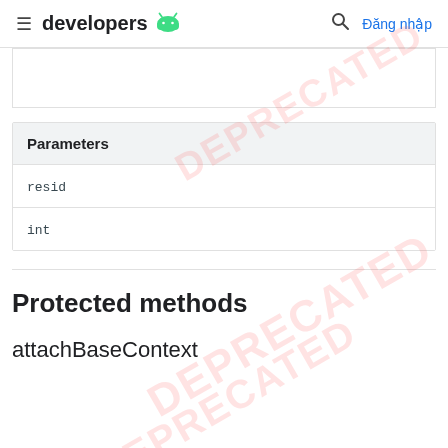≡ developers 🤖  🔍  Đăng nhập
| Parameters |
| --- |
| resid |
| int |
Protected methods
attachBaseContext